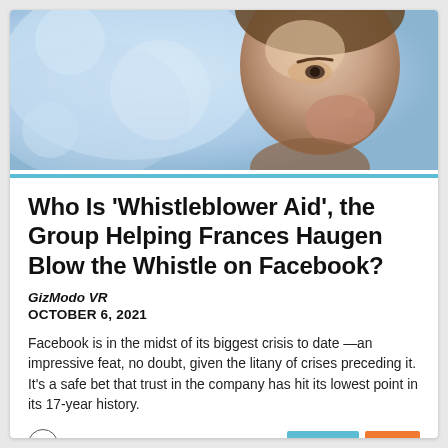[Figure (photo): Close-up profile photo of a person's face against a blurred blue-grey background, showing mostly the right side of the face from nose upward]
Who Is 'Whistleblower Aid', the Group Helping Frances Haugen Blow the Whistle on Facebook?
GizModo VR
OCTOBER 6, 2021
Facebook is in the midst of its biggest crisis to date —an impressive feat, no doubt, given the litany of crises preceding it. It's a safe bet that trust in the company has hit its lowest point in its 17-year history.
France
87